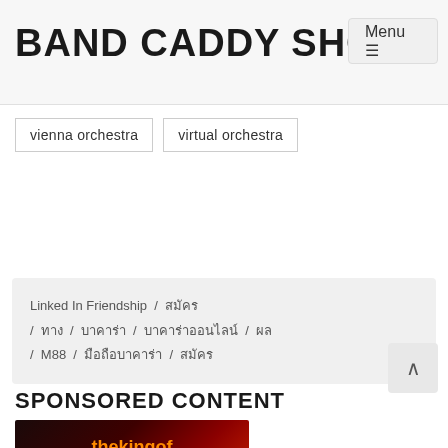BAND CADDY SHOP
Menu ☰
vienna orchestra
virtual orchestra
Linked In Friendship / สมัคร / ทาง / บาคาร่า / บาคาร่าออนไลน์ / ผล / M88 / มือถือบาคาร่า / สมัคร
SPONSORED CONTENT
[Figure (photo): thekingofdealer.com advertisement banner with playing cards and orange/yellow text on dark red background]